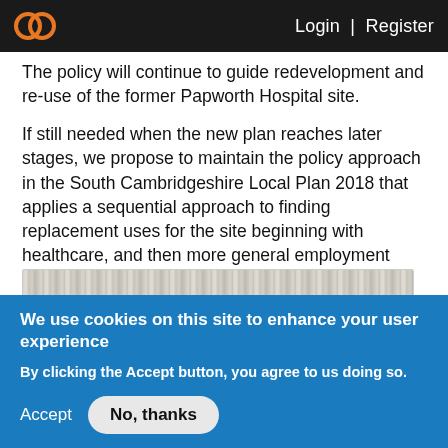Login | Register
The policy will continue to guide redevelopment and re-use of the former Papworth Hospital site.
If still needed when the new plan reaches later stages, we propose to maintain the policy approach in the South Cambridgeshire Local Plan 2018 that applies a sequential approach to finding replacement uses for the site beginning with healthcare, and then more general employment uses, with residential limited to conversions of character buildings where it would be the most appropriate use.
[Figure (screenshot): Partial view of a document or map image, cropped at the bottom of the visible content area]
We use cookies on this site to enhance your user experience
By clicking the Accept button, you agree to us doing so.